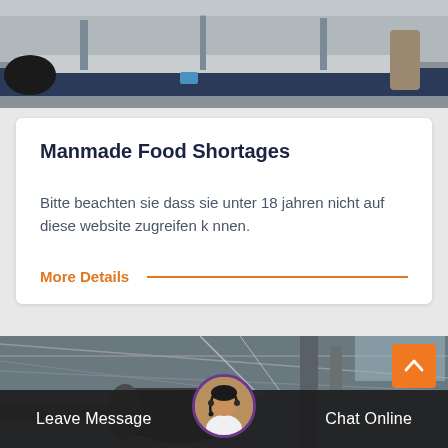[Figure (photo): Industrial warehouse or factory interior with metal structures, conveyor belt or table, dark blue metal base, workers or equipment visible in background.]
Manmade Food Shortages
Bitte beachten sie dass sie unter 18 jahren nicht auf diese website zugreifen k nnen.
More Details
[Figure (photo): Industrial interior showing large pipes or equipment, metal roofing structure, dark industrial setting.]
Leave Message
Chat Online